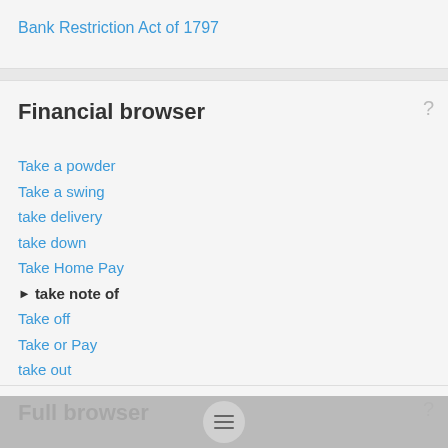Bank Restriction Act of 1797
Financial browser
Take a powder
Take a swing
take delivery
take down
Take Home Pay
take note of
Take off
Take or Pay
take out
Take the Knock
Take the offer
Take-and-pay contract
Full browser